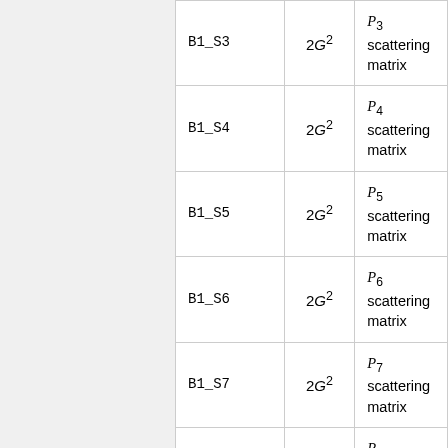| B1_S3 | 2G² | P₃ scattering matrix |
| B1_S4 | 2G² | P₄ scattering matrix |
| B1_S5 | 2G² | P₅ scattering matrix |
| B1_S6 | 2G² | P₆ scattering matrix |
| B1_S7 | 2G² | P₇ scattering matrix |
| B1_SP0 | 2G² | P₀ scattering production matrix |
| B1_SP1 | 2G² | P₁ scattering production matrix |
| B1_SP2 | 2G² | P₂ scattering production matrix |
| B1_SP3 | 2G² | P₃ scattering production matrix |